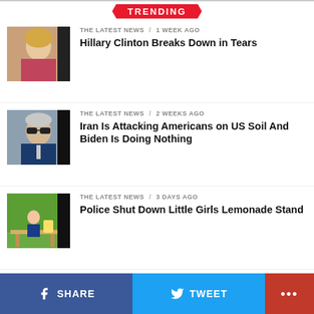TRENDING
THE LATEST NEWS / 1 week ago
Hillary Clinton Breaks Down in Tears
THE LATEST NEWS / 2 weeks ago
Iran Is Attacking Americans on US Soil And Biden Is Doing Nothing
THE LATEST NEWS / 3 days ago
Police Shut Down Little Girls Lemonade Stand
THE LATEST NEWS / 2 weeks ago
Covid Experts Finally Admit They Made Up the 6-Feet Social Distancing
SHARE   TWEET   ...